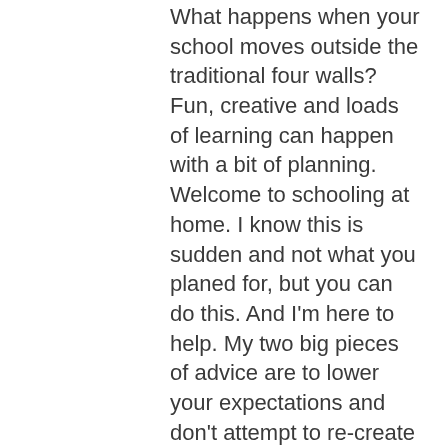What happens when your school moves outside the traditional four walls? Fun, creative and loads of learning can happen with a bit of planning. Welcome to schooling at home. I know this is sudden and not what you planed for, but you can do this. And I'm here to help. My two big pieces of advice are to lower your expectations and don't attempt to re-create school at home. The closure is new and unexpected for your children, too. They're off routine and scary news and events are happening and changing quickly. Take time to check in and talk to them about Coronavirus if you haven't yet. Click HERE a quick article from National Geographic Kids that breaks it down for